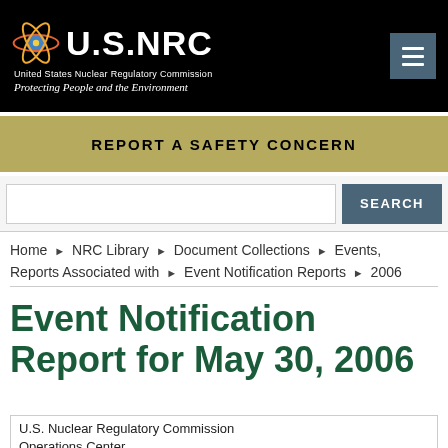U.S.NRC — United States Nuclear Regulatory Commission — Protecting People and the Environment
REPORT A SAFETY CONCERN
SEARCH
Home ▶ NRC Library ▶ Document Collections ▶ Events, Reports Associated with ▶ Event Notification Reports ▶ 2006
Event Notification Report for May 30, 2006
U.S. Nuclear Regulatory Commission Operations Center